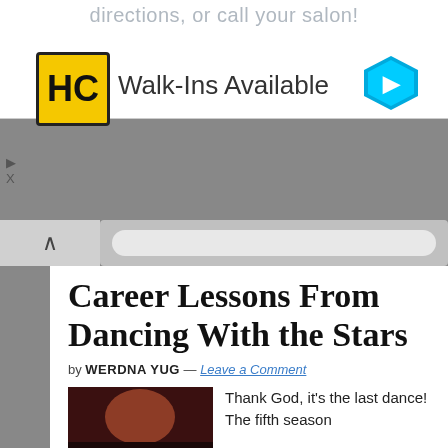directions, or call your salon!
[Figure (logo): HC logo - yellow square with HC letters in black]
Walk-Ins Available
[Figure (other): Blue diamond navigation arrow icon]
Career Lessons From Dancing With the Stars
by WERDNA YUG — Leave a Comment
[Figure (photo): Dancing with the Stars show image - woman dancing with show logo overlay]
Thank God, it's the last dance!  The fifth season